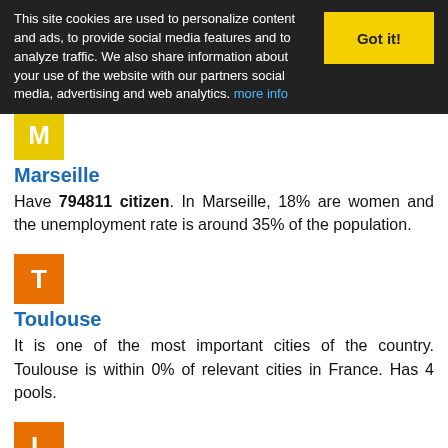This site cookies are used to personalize content and ads, to provide social media features and to analyze traffic. We also share information about your use of the website with our partners social media, advertising and web analytics. more info
Marseille
Have 794811 citizen. In Marseille, 18% are women and the unemployment rate is around 35% of the population.
Toulouse
It is one of the most important cities of the country. Toulouse is within 0% of relevant cities in France. Has 4 pools.
Lyon
The service sector accounts for 80% of all jobs generated in Lyon. Of this percentage, 11% are direct jobs, the rest are indirect jobs.